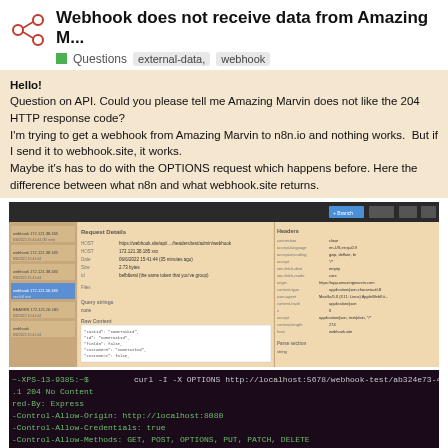Webhook does not receive data from Amazing M...
Questions  external-data,  webhook
Hello!
Question on API. Could you please tell me Amazing Marvin does not like the 204 HTTP response code?
I'm trying to get a webhook from Amazing Marvin to n8n.io and nothing works.  But if I send it to webhook.site, it works.
Maybe it's has to do with the OPTIONS request which happens before. Here the difference between what n8n and what webhook.site returns.
[Figure (screenshot): Screenshot of a webhook.site request inspection panel showing request details, headers, and JSON body content]
[Figure (screenshot): Terminal output of curl -I -X OPTIONS command showing HTTP 204 No Content response with CORS headers including Access-Control-Allow-Origin, Access-Control-Allow-Credentials: true, Access-Control-Allow-Methods: GET, POST, OPTIONS, PUT, PATCH, DELETE, Access-Control-Allow-Headers: Origin, X-Requested-With, Content-Type, Accept, sessionId]